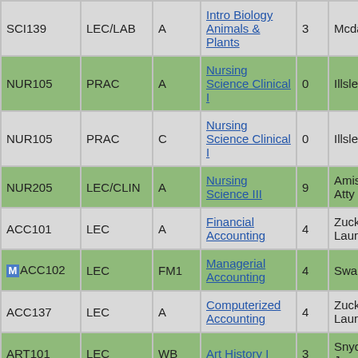| Course | Type | Section | Title | Credits | Instructor |
| --- | --- | --- | --- | --- | --- |
| SCI139 | LEC/LAB | A | Intro Biology Animals & Plants | 3 | Mcdarby, Michael |
| NUR105 | PRAC | A | Nursing Science Clinical I | 0 | Illsley, Lynne |
| NUR105 | PRAC | C | Nursing Science Clinical I | 0 | Illsley, Lynne |
| NUR205 | LEC/CLIN | A | Nursing Science III | 9 | Amissah, Jerry; Atty... |
| ACC101 | LEC | A | Financial Accounting | 4 | Zuckerman, Lauren... |
| (M)ACC102 | LEC | FM1 | Managerial Accounting | 4 | Swain, Mark |
| ACC137 | LEC | A | Computerized Accounting | 4 | Zuckerman, Lauren... |
| ART101 | LEC | WB | Art History I | 3 | Snyder, Jacqueline |
| ART115 | LEC | A | Drawing I... | 0 | Sher, J... |